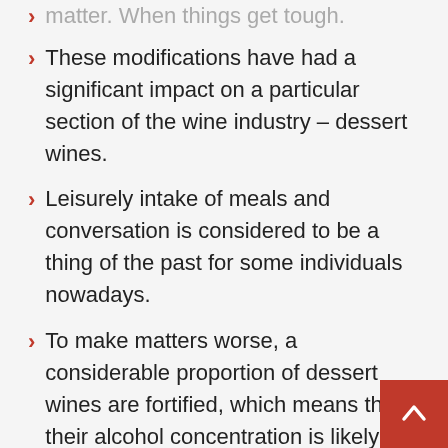matter. When things get tough.
These modifications have had a significant impact on a particular section of the wine industry – dessert wines.
Leisurely intake of meals and conversation is considered to be a thing of the past for some individuals nowadays.
To make matters worse, a considerable proportion of dessert wines are fortified, which means that their alcohol concentration is likely to be in the vicinity of 20 percent.
However, it is crucial to remember that a little goes a long way when it comes